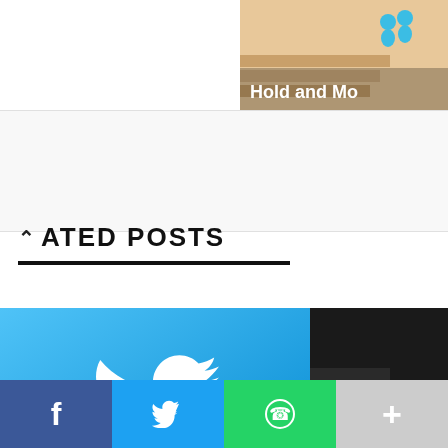[Figure (screenshot): Top right partial image showing animated characters and 'Hold and Mo' text on sandy/pink background]
ATED POSTS
[Figure (logo): Twitter logo — white bird on blue gradient background]
[Figure (photo): Partial photo showing dark ocean water and a person]
[Figure (infographic): Social share bar with Facebook, Twitter, WhatsApp, and more buttons]